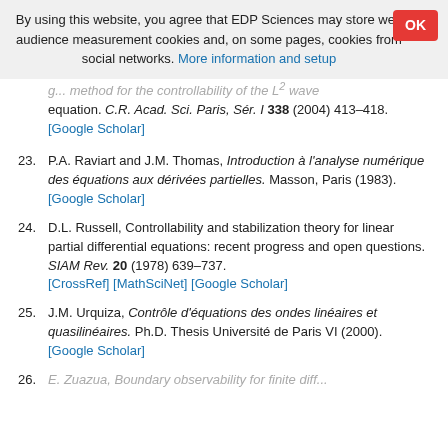By using this website, you agree that EDP Sciences may store web audience measurement cookies and, on some pages, cookies from social networks. More information and setup
g... method for the controllability of the L² wave equation. C.R. Acad. Sci. Paris, Sér. I 338 (2004) 413–418. [Google Scholar]
23. P.A. Raviart and J.M. Thomas, Introduction à l'analyse numérique des équations aux dérivées partielles. Masson, Paris (1983). [Google Scholar]
24. D.L. Russell, Controllability and stabilization theory for linear partial differential equations: recent progress and open questions. SIAM Rev. 20 (1978) 639–737. [CrossRef] [MathSciNet] [Google Scholar]
25. J.M. Urquiza, Contrôle d'équations des ondes linéaires et quasilinéaires. Ph.D. Thesis Université de Paris VI (2000). [Google Scholar]
26. E. Zuazua, Boundary observability for finite diff...